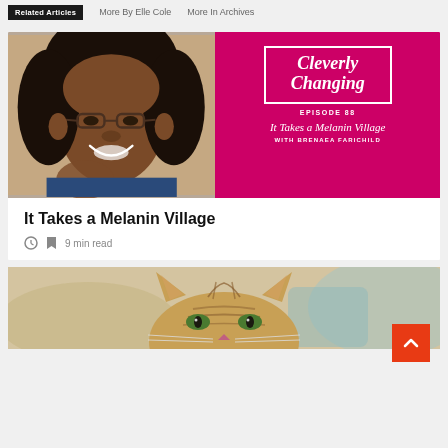Related Articles  More By Elle Cole  More In Archives
[Figure (photo): Article card showing a smiling Black woman with glasses on the left, and a pink/magenta podcast cover art for 'Cleverly Changing Episode 88 - It Takes a Melanin Village with Brenaea Farichild' on the right]
It Takes a Melanin Village
9 min read
[Figure (photo): Partial image of a tabby cat looking up, shown from the top of the head]